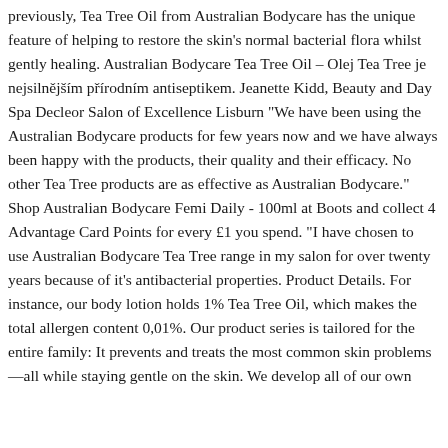previously, Tea Tree Oil from Australian Bodycare has the unique feature of helping to restore the skin's normal bacterial flora whilst gently healing. Australian Bodycare Tea Tree Oil – Olej Tea Tree je nejsilnějším přírodním antiseptikem. Jeanette Kidd, Beauty and Day Spa Decleor Salon of Excellence Lisburn "We have been using the Australian Bodycare products for few years now and we have always been happy with the products, their quality and their efficacy. No other Tea Tree products are as effective as Australian Bodycare." Shop Australian Bodycare Femi Daily - 100ml at Boots and collect 4 Advantage Card Points for every £1 you spend. "I have chosen to use Australian Bodycare Tea Tree range in my salon for over twenty years because of it's antibacterial properties. Product Details. For instance, our body lotion holds 1% Tea Tree Oil, which makes the total allergen content 0,01%. Our product series is tailored for the entire family: It prevents and treats the most common skin problems—all while staying gentle on the skin. We develop all of our own